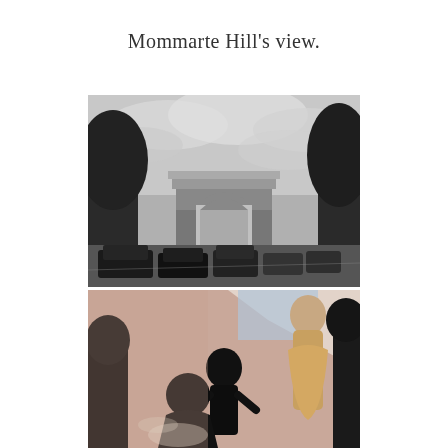Mommarte Hill's view.
[Figure (photo): Black and white photograph of the Arc de Triomphe in Paris, viewed from street level with trees on both sides and cars in the foreground under a cloudy sky.]
[Figure (photo): Color photograph of a fashion store window display with mannequins dressed in elegant clothing, partially cropped at the bottom of the page.]